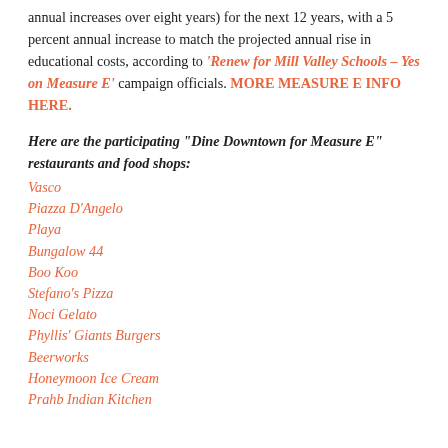annual increases over eight years) for the next 12 years, with a 5 percent annual increase to match the projected annual rise in educational costs, according to 'Renew for Mill Valley Schools – Yes on Measure E' campaign officials. MORE MEASURE E INFO HERE.
Here are the participating “Dine Downtown for Measure E” restaurants and food shops:
Vasco
Piazza D’Angelo
Playa
Bungalow 44
Boo Koo
Stefano’s Pizza
Noci Gelato
Phyllis’ Giants Burgers
Beerworks
Honeymoon Ice Cream
Prahb Indian Kitchen